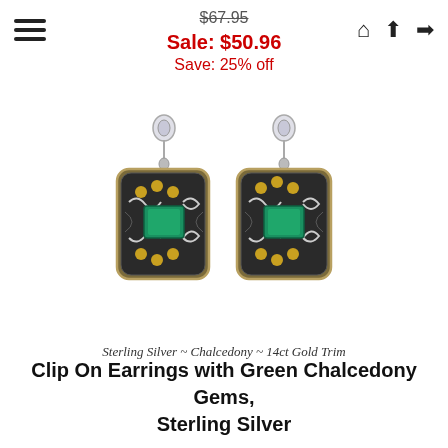navigation bar with hamburger menu, home, up, and login icons
$67.95 Sale: $50.96 Save: 25% off
[Figure (photo): Two clip-on earrings with green chalcedony square gems, sterling silver settings with gold dot accents and scroll details, shown hanging from silver butterfly clips]
Sterling Silver ~ Chalcedony ~ 14ct Gold Trim
Clip On Earrings with Green Chalcedony Gems, Sterling Silver